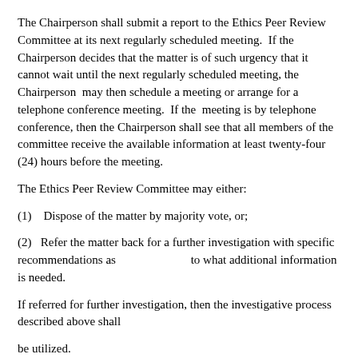The Chairperson shall submit a report to the Ethics Peer Review Committee at its next regularly scheduled meeting.  If the Chairperson decides that the matter is of such urgency that it cannot wait until the next regularly scheduled meeting, the Chairperson  may then schedule a meeting or arrange for a telephone conference meeting.  If the  meeting is by telephone conference, then the Chairperson shall see that all members of the committee receive the available information at least twenty-four (24) hours before the meeting.
The Ethics Peer Review Committee may either:
(1)    Dispose of the matter by majority vote, or;
(2)    Refer the matter back for a further investigation with specific recommendations as                              to what additional information is needed.
If referred for further investigation, then the investigative process described above shall
be utilized.